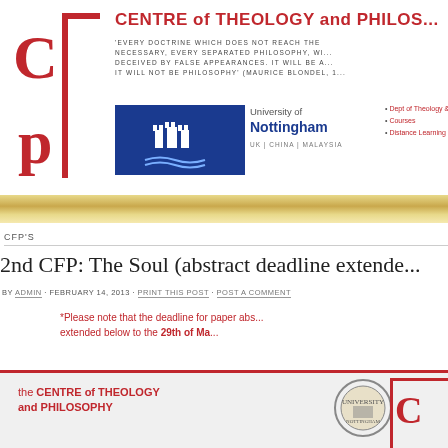[Figure (logo): Centre of Theology and Philosophy (CTP) logo - red letter C and P with vertical bar]
CENTRE of THEOLOGY and PHILOSOPHY
'EVERY DOCTRINE WHICH DOES NOT REACH THE NECESSARY, EVERY SEPARATED PHILOSOPHY, WILL BE DECEIVED BY FALSE APPEARANCES. IT WILL BE A... IT WILL NOT BE PHILOSOPHY' (MAURICE BLONDEL, 1...
[Figure (logo): University of Nottingham logo with castle emblem, text: University of Nottingham, UK | CHINA | MALAYSIA]
Dept of Theology & Religious...
Courses
Distance Learning
CFP'S
2nd CFP: The Soul (abstract deadline extended...
BY ADMIN · FEBRUARY 14, 2013 · PRINT THIS POST · POST A COMMENT
*Please note that the deadline for paper abstracts has been extended below to the 29th of Ma...
[Figure (logo): Bottom banner: the CENTRE of THEOLOGY and PHILOSOPHY, with university seal and CTP logo]